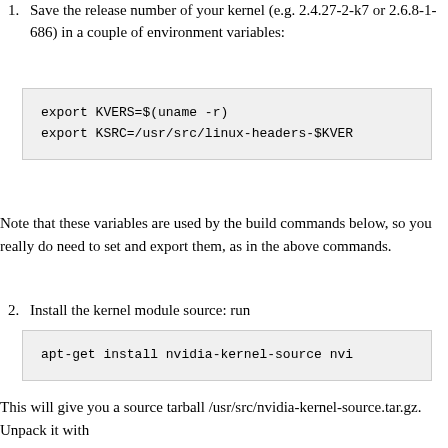1. Save the release number of your kernel (e.g. 2.4.27-2-k7 or 2.6.8-1-686) in a couple of environment variables:
export KVERS=$(uname -r)
export KSRC=/usr/src/linux-headers-$KVERS
Note that these variables are used by the build commands below, so you really do need to set and export them, as in the above commands.
2. Install the kernel module source: run
apt-get install nvidia-kernel-source nvi
This will give you a source tarball /usr/src/nvidia-kernel-source.tar.gz. Unpack it with